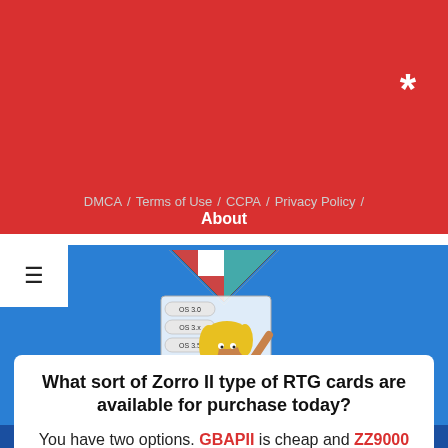*
DMCA / Terms of Use / CCPA / Privacy Policy / About
[Figure (illustration): Amiga OS compatibility chart with cartoon character (girl with yellow hair) holding a checkered diamond flag, showing OS versions: OS 3.0, OS 3.x, OS 3.5, OS 3.9, OS4, AROS, MOS]
What sort of Zorro II type of RTG cards are available for purchase today?

You have two options. GBAPII is cheap and ZZ9000 got you covered